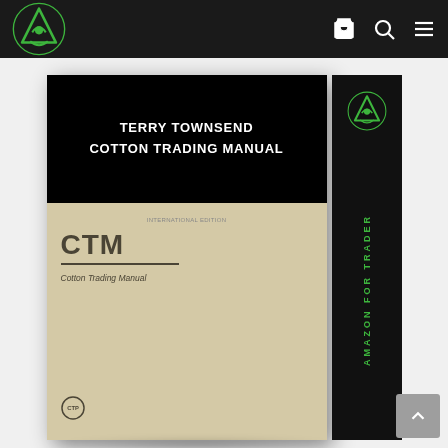[Figure (screenshot): Website navigation bar with dark background, green mountain/currency logo on left, cart, search, and hamburger menu icons on right]
[Figure (photo): Book cover for 'Terry Townsend Cotton Trading Manual' (CTM) showing black top section with white bold title text, lower cream/tan section with CTM acronym in large bold letters, subtitle 'Cotton Trading Manual', and a small publisher logo at bottom left. Book spine on right shows green Amazon For Traders logo and vertical text 'AMAZON FOR TRADER' in green.]